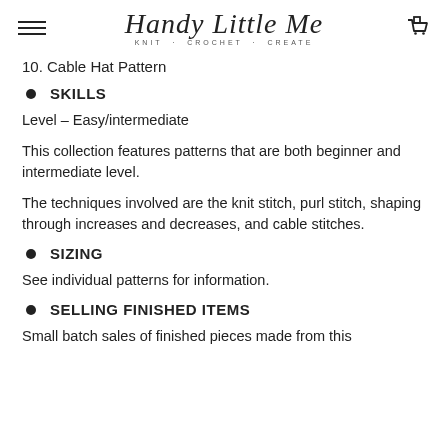Handy Little Me — KNIT · CROCHET · CREATE
10. Cable Hat Pattern
SKILLS
Level – Easy/intermediate
This collection features patterns that are both beginner and intermediate level.
The techniques involved are the knit stitch, purl stitch, shaping through increases and decreases, and cable stitches.
SIZING
See individual patterns for information.
SELLING FINISHED ITEMS
Small batch sales of finished pieces made from this